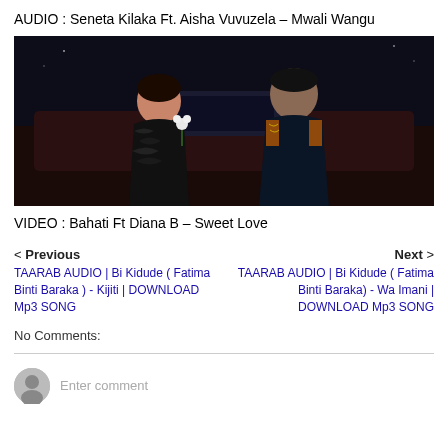AUDIO : Seneta Kilaka Ft. Aisha Vuvuzela – Mwali Wangu
[Figure (photo): Two people posing in front of a car at night; a woman in a black feathered dress holding a white flower and a man in a dark traditional outfit with orange trim]
VIDEO : Bahati Ft Diana B – Sweet Love
< Previous
TAARAB AUDIO | Bi Kidude ( Fatima Binti Baraka ) - Kijiti | DOWNLOAD Mp3 SONG
Next >
TAARAB AUDIO | Bi Kidude ( Fatima Binti Baraka) - Wa Imani | DOWNLOAD Mp3 SONG
No Comments:
Enter comment